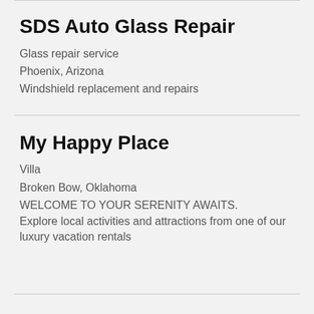SDS Auto Glass Repair
Glass repair service
Phoenix, Arizona
Windshield replacement and repairs
My Happy Place
Villa
Broken Bow, Oklahoma
WELCOME TO YOUR SERENITY AWAITS. Explore local activities and attractions from one of our luxury vacation rentals